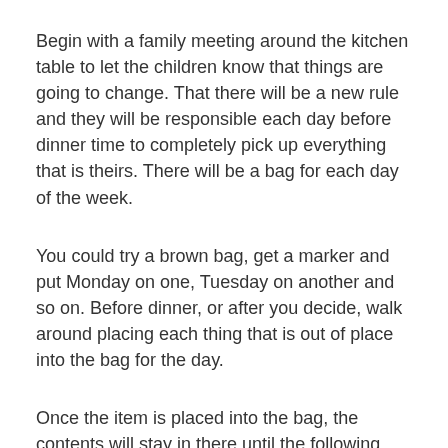Begin with a family meeting around the kitchen table to let the children know that things are going to change. That there will be a new rule and they will be responsible each day before dinner time to completely pick up everything that is theirs. There will be a bag for each day of the week.
You could try a brown bag, get a marker and put Monday on one, Tuesday on another and so on. Before dinner, or after you decide, walk around placing each thing that is out of place into the bag for the day.
Once the item is placed into the bag, the contents will stay in there until the following week. IE: Monday's contents will stay until the following Monday, etc.
You will repeat this each day of the week. Hopefully, after a